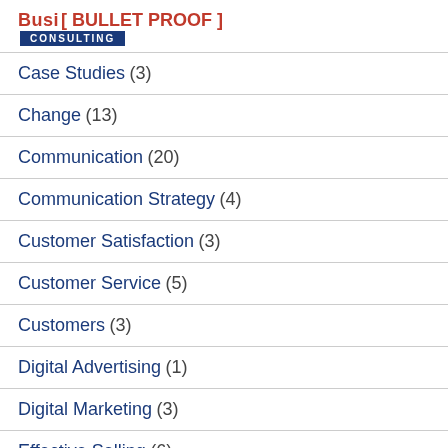Busi [ BULLET PROOF ] CONSULTING
Case Studies (3)
Change (13)
Communication (20)
Communication Strategy (4)
Customer Satisfaction (3)
Customer Service (5)
Customers (3)
Digital Advertising (1)
Digital Marketing (3)
Effective Selling (6)